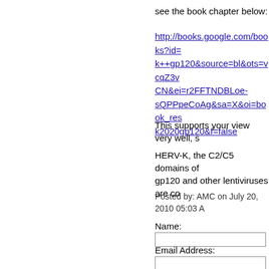see the book chapter below:
http://books.google.com/books?id=k++gp120&source=bl&ots=vcqZ3vCN&ei=r2FFTNDBLoe-sQPPpeCoAg&sa=X&oi=book_result&ct=result&resnum=5&ved=0CDIQ6AEwBDgK#v=onepage&q=herv%20k2020gp120&f=false
This supports your view very well, s
HERV-K, the C2/C5 domains of gp120 and other lentiviruses are co
Posted by: AMC on July 20, 2010 05:03 A
Name:
Email Address:
URL:
Comments: